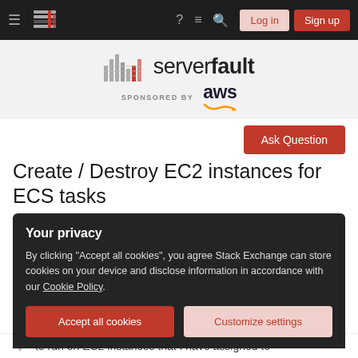Navigation bar with hamburger, logo, help, chat, search icons, Log in and Sign up buttons
[Figure (logo): Server Fault logo with equalizer bars icon and 'serverfault' wordmark, sponsored by AWS]
Ask Question
Create / Destroy EC2 instances for ECS tasks
Asked 2 years, 9 months ago   Modified 2 years, 9 months ago
Your privacy
By clicking "Accept all cookies", you agree Stack Exchange can store cookies on your device and disclose information in accordance with our Cookie Policy.
Accept all cookies   Customize settings
to run on EC2 instances that I have assigned to